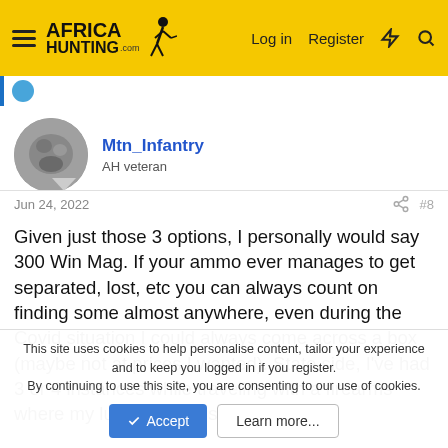AfricaHunting.com — Log in | Register
Mtn_Infantry
AH veteran
Jun 24, 2022  #8
Given just those 3 options, I personally would say 300 Win Mag. If your ammo ever manages to get separated, lost, etc you can always count on finding some almost anywhere, even during the Covid situation I could always come across a box (maybe not at prices I wanted). State side, I've had 3 or 4 instances while traveling with a firearms where my luggage was split up
This site uses cookies to help personalise content, tailor your experience and to keep you logged in if you register.
By continuing to use this site, you are consenting to our use of cookies.